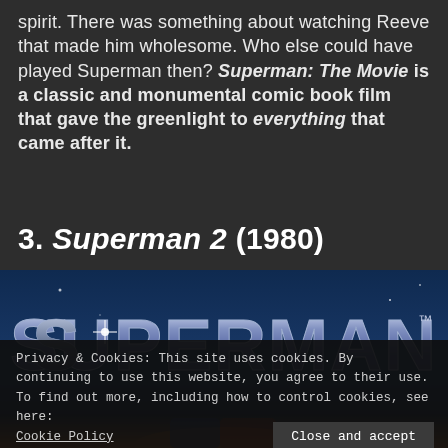spirit. There was something about watching Reeve that made him wholesome. Who else could have played Superman then? Superman: The Movie is a classic and monumental comic book film that gave the greenlight to everything that came after it.
3. Superman 2 (1980)
[Figure (photo): Superman 2 movie title logo in chrome/metallic letters against a dark blue background, with a partial image of Superman visible at the bottom]
Privacy & Cookies: This site uses cookies. By continuing to use this website, you agree to their use.
To find out more, including how to control cookies, see here: Cookie Policy